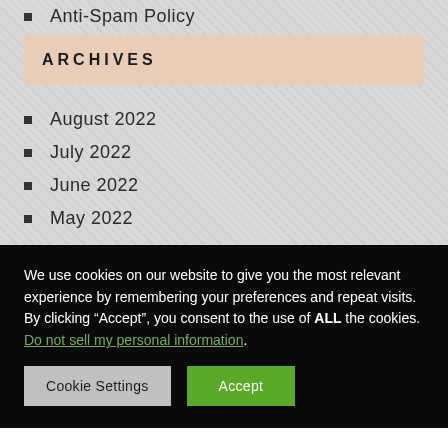Anti-Spam Policy
ARCHIVES
August 2022
July 2022
June 2022
May 2022
We use cookies on our website to give you the most relevant experience by remembering your preferences and repeat visits. By clicking “Accept”, you consent to the use of ALL the cookies. Do not sell my personal information.
Cookie Settings   Accept